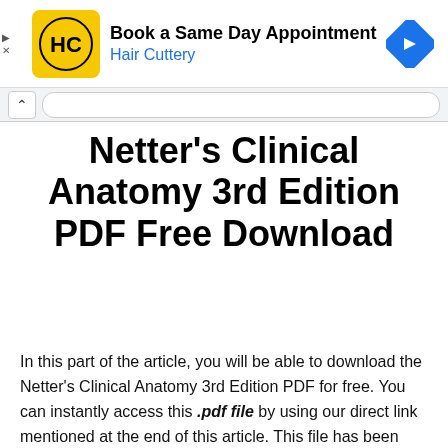[Figure (screenshot): Hair Cuttery advertisement banner with logo, 'Book a Same Day Appointment' text, and navigation arrow icon]
Netter's Clinical Anatomy 3rd Edition PDF Free Download
In this part of the article, you will be able to download the Netter's Clinical Anatomy 3rd Edition PDF for free. You can instantly access this .pdf file by using our direct link mentioned at the end of this article. This file has been uploaded to our Mediafire's repository.